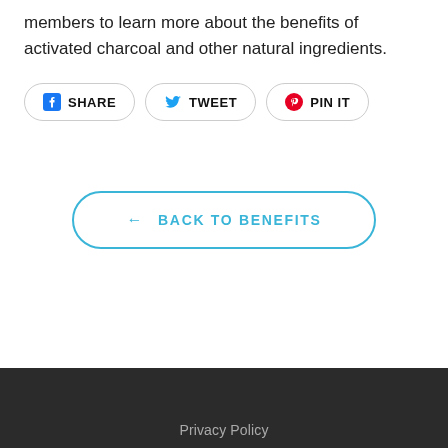members to learn more about the benefits of activated charcoal and other natural ingredients.
[Figure (other): Social share buttons: Facebook SHARE, Twitter TWEET, Pinterest PIN IT]
[Figure (other): Back button: ← BACK TO BENEFITS]
Privacy Policy